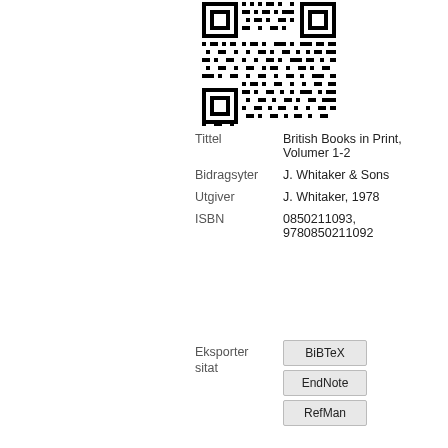[Figure (other): QR code in black and white]
| Tittel | British Books in Print, Volumer 1-2 |
| Bidragsyter | J. Whitaker & Sons |
| Utgiver | J. Whitaker, 1978 |
| ISBN | 0850211093, 9780850211092 |
Eksporter sitat
BiBTeX
EndNote
RefMan